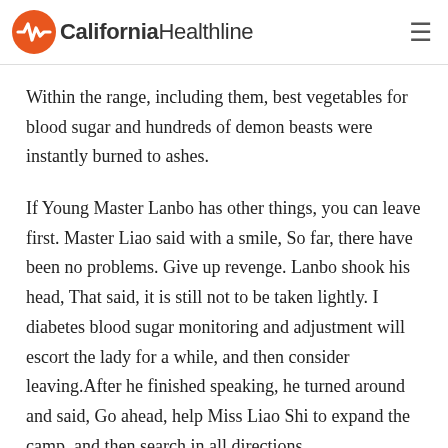California Healthline
Within the range, including them, best vegetables for blood sugar and hundreds of demon beasts were instantly burned to ashes.
If Young Master Lanbo has other things, you can leave first. Master Liao said with a smile, So far, there have been no problems. Give up revenge. Lanbo shook his head, That said, it is still not to be taken lightly. I diabetes blood sugar monitoring and adjustment will escort the lady for a while, and then consider leaving.After he finished speaking, he turned around and said, Go ahead, help Miss Liao Shi to expand the camp, and then search in all directions.